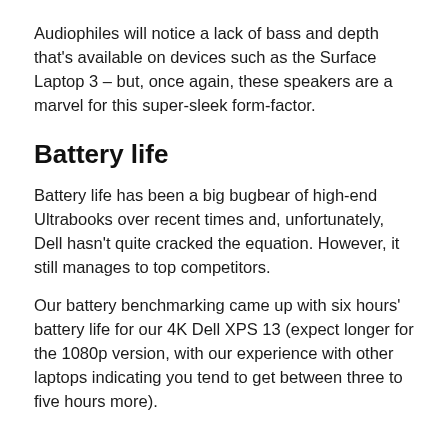Audiophiles will notice a lack of bass and depth that's available on devices such as the Surface Laptop 3 – but, once again, these speakers are a marvel for this super-sleek form-factor.
Battery life
Battery life has been a big bugbear of high-end Ultrabooks over recent times and, unfortunately, Dell hasn't quite cracked the equation. However, it still manages to top competitors.
Our battery benchmarking came up with six hours' battery life for our 4K Dell XPS 13 (expect longer for the 1080p version, with our experience with other laptops indicating you tend to get between three to five hours more).